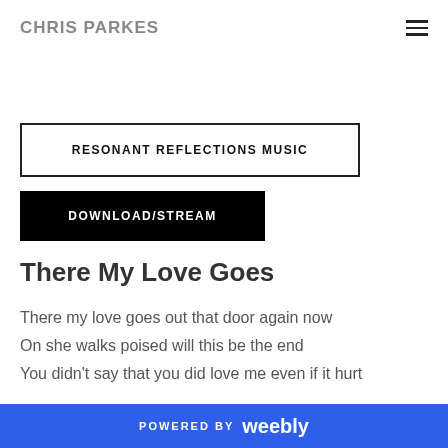CHRIS PARKES
RESONANT REFLECTIONS MUSIC
DOWNLOAD/STREAM
There My Love Goes
There my love goes out that door again now
On she walks poised will this be the end
You didn't say that you did love me even if it hurt
POWERED BY weebly